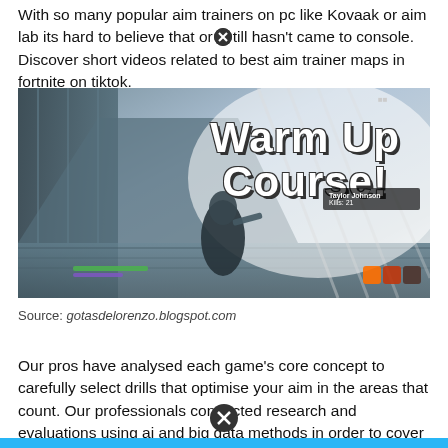With so many popular aim trainers on pc like Kovaak or aim lab its hard to believe that or✕till hasn’t came to console. Discover short videos related to best aim trainer maps in fortnite on tiktok.
[Figure (screenshot): Fortnite in-game screenshot showing a character in a blue-grey metallic map with bold white text reading 'Warm Up Course!' overlaid on the right side.]
Source: gotasdelorenzo.blogspot.com
Our pros have analysed each game’s core concept to carefully select drills that optimise your aim in the areas that count. Our professionals conducted research and evaluations using ai and big data methods in order to cover a whole number.